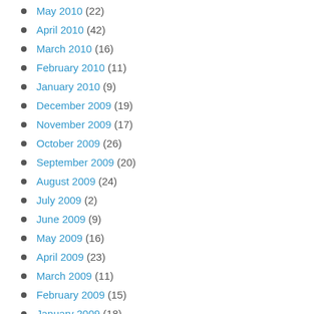May 2010 (22)
April 2010 (42)
March 2010 (16)
February 2010 (11)
January 2010 (9)
December 2009 (19)
November 2009 (17)
October 2009 (26)
September 2009 (20)
August 2009 (24)
July 2009 (2)
June 2009 (9)
May 2009 (16)
April 2009 (23)
March 2009 (11)
February 2009 (15)
January 2009 (18)